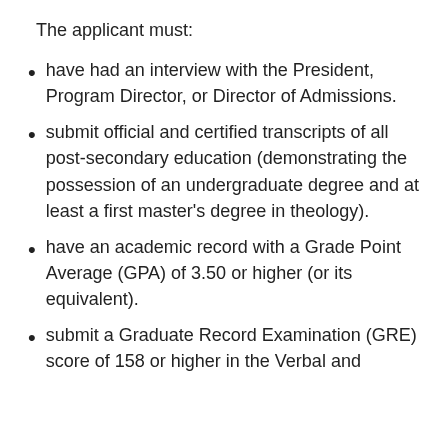The applicant must:
have had an interview with the President, Program Director, or Director of Admissions.
submit official and certified transcripts of all post-secondary education (demonstrating the possession of an undergraduate degree and at least a first master's degree in theology).
have an academic record with a Grade Point Average (GPA) of 3.50 or higher (or its equivalent).
submit a Graduate Record Examination (GRE) score of 158 or higher in the Verbal and